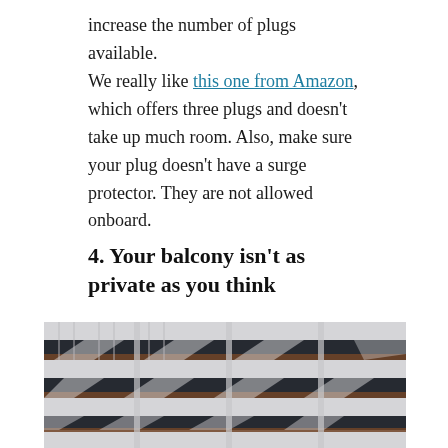increase the number of plugs available.
We really like this one from Amazon, which offers three plugs and doesn't take up much room. Also, make sure your plug doesn't have a surge protector. They are not allowed onboard.
4. Your balcony isn't as private as you think
[Figure (photo): Exterior view of a cruise ship showing multiple balconies stacked in rows, with white railings, glass panels, and wooden handrails visible. The balconies are photographed from an angle showing several decks.]